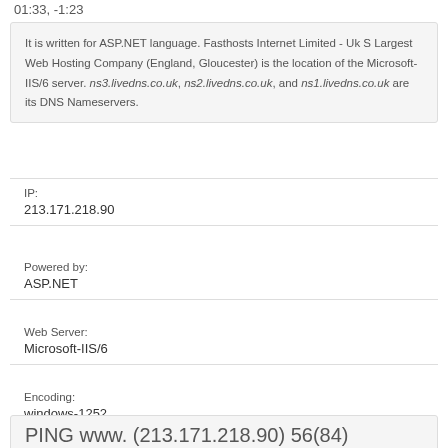01:33, -1:23
It is written for ASP.NET language. Fasthosts Internet Limited - Uk S Largest Web Hosting Company (England, Gloucester) is the location of the Microsoft-IIS/6 server. ns3.livedns.co.uk, ns2.livedns.co.uk, and ns1.livedns.co.uk are its DNS Nameservers.
IP:
213.171.218.90
Powered by:
ASP.NET
Web Server:
Microsoft-IIS/6
Encoding:
windows-1252
PING www. (213.171.218.90) 56(84)